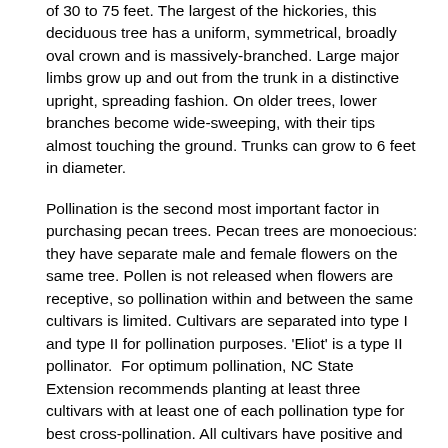of 30 to 75 feet. The largest of the hickories, this deciduous tree has a uniform, symmetrical, broadly oval crown and is massively-branched. Large major limbs grow up and out from the trunk in a distinctive upright, spreading fashion. On older trees, lower branches become wide-sweeping, with their tips almost touching the ground. Trunks can grow to 6 feet in diameter.
Pollination is the second most important factor in purchasing pecan trees. Pecan trees are monoecious: they have separate male and female flowers on the same tree. Pollen is not released when flowers are receptive, so pollination within and between the same cultivars is limited. Cultivars are separated into type I and type II for pollination purposes. 'Eliot' is a type II pollinator. For optimum pollination, NC State Extension recommends planting at least three cultivars with at least one of each pollination type for best cross-pollination. All cultivars have positive and negative attributes and you can model before purchasing